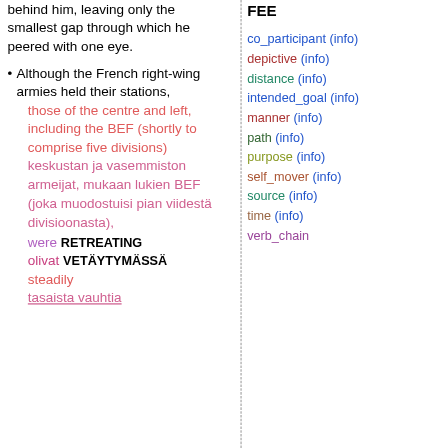behind him, leaving only the smallest gap through which he peered with one eye.
Although the French right-wing armies held their stations, those of the centre and left, including the BEF (shortly to comprise five divisions) keskustan ja vasemmiston armeijat, mukaan lukien BEF (joka muodostuisi pian viidestä divisioonasta), were RETREATING olivat VETÄYTYMÄSSÄ steadily tasaista vauhtia
FEE
co_participant (info)
depictive (info)
distance (info)
intended_goal (info)
manner (info)
path (info)
purpose (info)
self_mover (info)
source (info)
time (info)
verb_chain